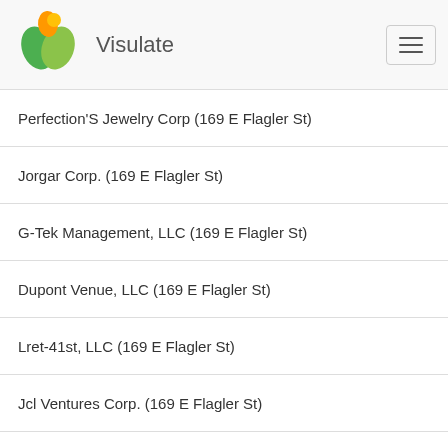Visulate
Perfection'S Jewelry Corp (169 E Flagler St)
Jorgar Corp. (169 E Flagler St)
G-Tek Management, LLC (169 E Flagler St)
Dupont Venue, LLC (169 E Flagler St)
Lret-41st, LLC (169 E Flagler St)
Jcl Ventures Corp. (169 E Flagler St)
Doodad, Inc. (169 E Flagler St)
Ciprox (Usa), Inc. (169 E Flagler St)
Davimael Corporation (169 E Flagler St)
M. Feldman & Sons, Inc. (169 E Flagler St)